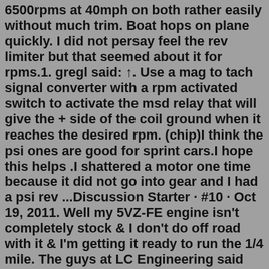6500rpms at 40mph on both rather easily without much trim. Boat hops on plane quickly. I did not persay feel the rev limiter but that seemed about it for rpms.1. gregl said: ↑. Use a mag to tach signal converter with a rpm activated switch to activate the msd relay that will give the + side of the coil ground when it reaches the desired rpm. (chip)I think the psi ones are good for sprint cars.I hope this helps .I shattered a motor one time because it did not go into gear and I had a psi rev ...Discussion Starter · #10 · Oct 19, 2011. Well my 5VZ-FE engine isn't completely stock & I don't do off road with it & I'm getting it ready to run the 1/4 mile. The guys at LC Engineering said that with the mods that I have on my truck it should peak out horespower at around 6,300 rpms. It will redline at 5.5k in first gear at a blink of an eye.Feb 07, 2017 · slingshot383. There is a rpm limiter, controls fuel and spark, and a top speed limiter (uses digital speedometer input), also controls fuel and spark. So, it is 2 completely different lines of code that need to be changed to alter either item. The rpm